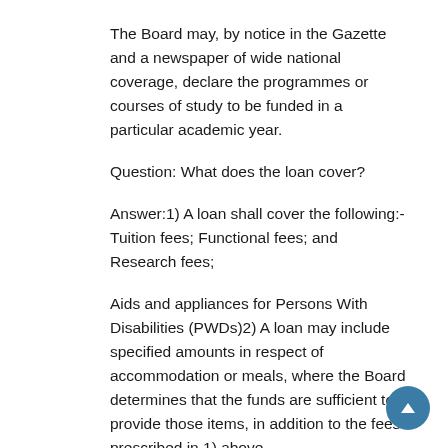The Board may, by notice in the Gazette and a newspaper of wide national coverage, declare the programmes or courses of study to be funded in a particular academic year.
Question: What does the loan cover?
Answer:1) A loan shall cover the following:- Tuition fees; Functional fees; and Research fees;
Aids and appliances for Persons With Disabilities (PWDs)2) A loan may include specified amounts in respect of accommodation or meals, where the Board determines that the funds are sufficient to provide those items, in addition to the fees prescribed in 1) above.